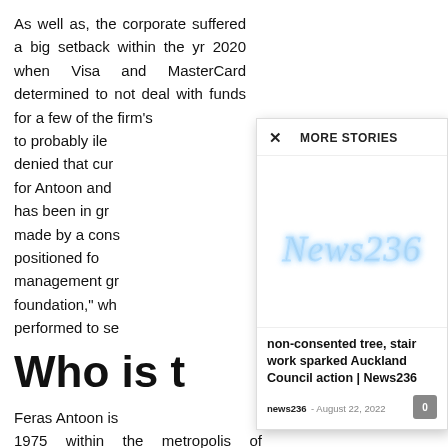As well as, the corporate suffered a big setback within the yr 2020 when Visa and MasterCard determined to not deal with funds for a few of the firm's to probably ile denied that cur for Antoon and has been in gr made by a cons positioned fo management gr foundation," wh performed to se
[Figure (screenshot): A popup overlay showing 'MORE STORIES' header with a close X button, a News236 logo with glowing blue text effect, and a story card titled 'non-consented tree, stair work sparked Auckland Council action | News236' with source 'news236', date 'August 22, 2022', and a comment count button showing 0.]
Who is t
Feras Antoon is 1975 within the metropolis of Damascus, which is situated in Syria. To additional his training in engineering, Antoon relocated to